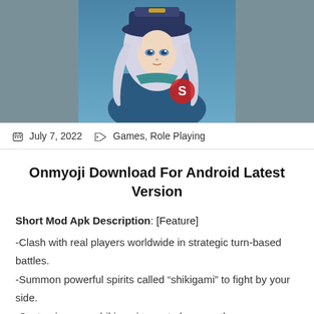[Figure (illustration): Anime character with white/silver hair, blue hat, blue outfit, against a teal/grey background. Character appears to be from the Onmyoji game.]
July 7, 2022  Games, Role Playing
Onmyoji Download For Android Latest Version
Short Mod Apk Description: [Feature]
-Clash with real players worldwide in strategic turn-based battles.
-Summon powerful spirits called “shikigami” to fight by your side.
-Customize your shikigami team to become the